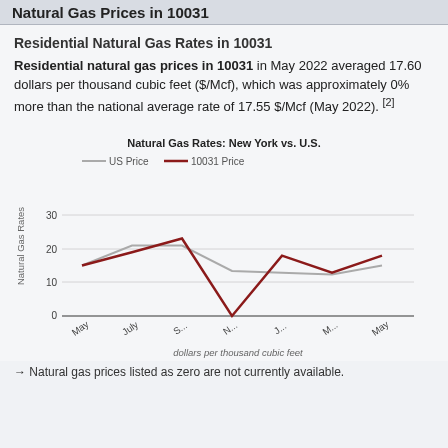Natural Gas Prices in 10031
Residential Natural Gas Rates in 10031
Residential natural gas prices in 10031 in May 2022 averaged 17.60 dollars per thousand cubic feet ($/Mcf), which was approximately 0% more than the national average rate of 17.55 $/Mcf (May 2022). [2]
[Figure (line-chart): Natural Gas Rates: New York vs. U.S.]
→ Natural gas prices listed as zero are not currently available.